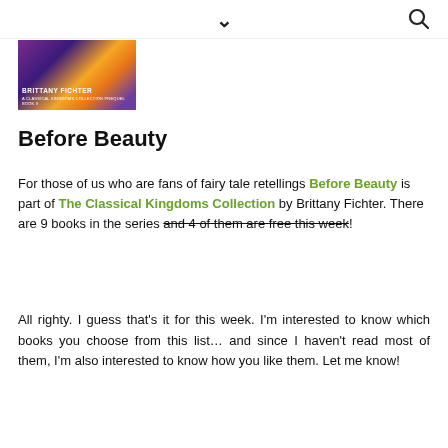chevron down icon and search icon
[Figure (photo): Book cover image for 'Brittany Fichter – A Classical Kingdoms Collection' with purple and gold fantasy art]
Before Beauty
For those of us who are fans of fairy tale retellings Before Beauty is part of The Classical Kingdoms Collection by Brittany Fichter. There are 9 books in the series and 4 of them are free this week!
All righty. I guess that's it for this week. I'm interested to know which books you choose from this list... and since I haven't read most of them, I'm also interested to know how you like them. Let me know!